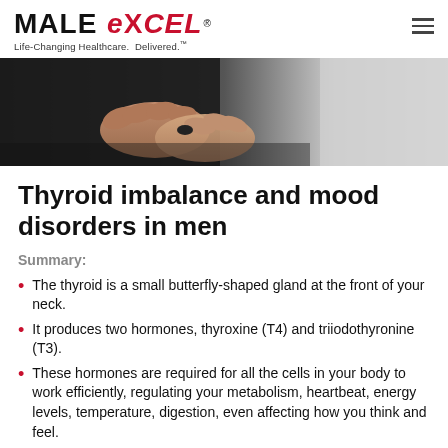MALE eXCEL® Life-Changing Healthcare. Delivered.™
[Figure (photo): Close-up of a man's hands holding or adjusting something, blurred background, black and white tones with light background]
Thyroid imbalance and mood disorders in men
Summary:
The thyroid is a small butterfly-shaped gland at the front of your neck.
It produces two hormones, thyroxine (T4) and triiodothyronine (T3).
These hormones are required for all the cells in your body to work efficiently, regulating your metabolism, heartbeat, energy levels, temperature, digestion, even affecting how you think and feel.